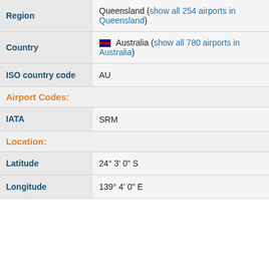| Region | Queensland (show all 254 airports in Queensland) |
| Country | Australia (show all 780 airports in Australia) |
| ISO country code | AU |
| Airport Codes: |  |
| IATA | SRM |
| Location: |  |
| Latitude | 24° 3' 0" S |
| Longitude | 139° 4' 0" E |